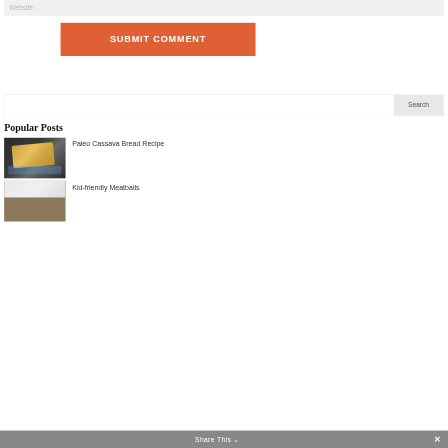Website
SUBMIT COMMENT
Search
Popular Posts
[Figure (photo): Thumbnail photo of Paleo Cassava Bread on a cooling rack]
Paleo Cassava Bread Recipe
[Figure (photo): Thumbnail photo related to Kid-friendly Meatballs]
Kid-friendly Meatballs
Share This ∨ ✕